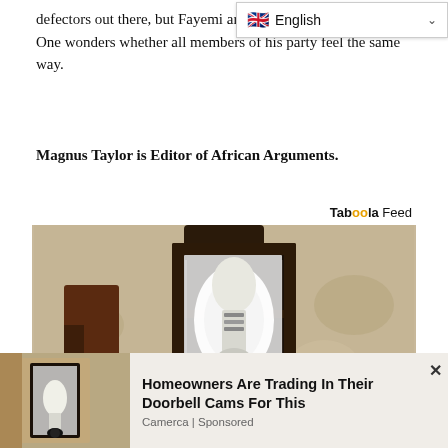defectors out there, but Fayemi are in it for the right reasons. One wonders whether all members of his party feel the same way.
[Figure (screenshot): Language selector dropdown showing British flag and 'English' text with chevron]
Magnus Taylor is Editor of African Arguments.
Taboola Feed
[Figure (photo): Close-up photo of an outdoor wall lantern lamp with a security camera hidden inside, mounted on a textured stone/stucco wall]
[Figure (photo): Smaller thumbnail of same outdoor wall lantern with hidden security camera]
Homeowners Are Trading In Their Doorbell Cams For This
Camerca | Sponsored